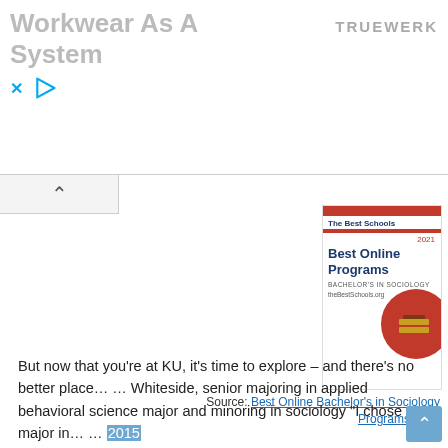[Figure (screenshot): Advertisement banner for Truewerk workwear showing 'Workwear As A System' text with brand name and close/play controls]
[Figure (photo): Book cover: The Best Schools - Best Online Programs - Bachelor's in Sociology 2021 from theBestSchools.org]
Source: Best Online Bachelor’s in Sociology Programs 2021
But now that you’re at KU, it’s time to explore – and there’s no better place… … Whiteside, senior majoring in applied behavioral science major and minoring in sociology “I chose to major in… … 2015